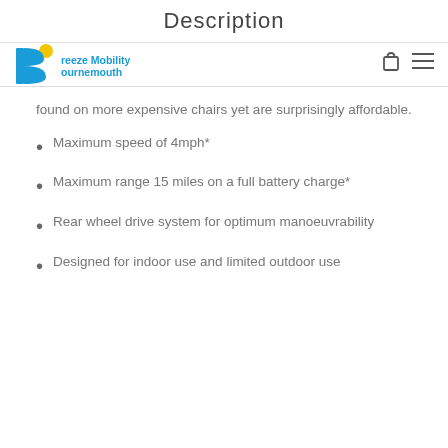Description
[Figure (logo): Breeze Mobility Bournemouth logo with blue B letter and yellow dot]
found on more expensive chairs yet are surprisingly affordable.
Maximum speed of 4mph*
Maximum range 15 miles on a full battery charge*
Rear wheel drive system for optimum manoeuvrability
Designed for indoor use and limited outdoor use